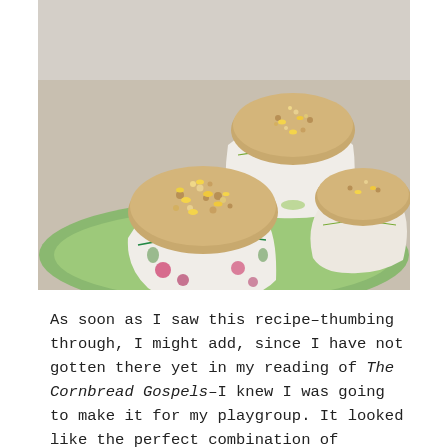[Figure (photo): Three cornbread muffins in decorative floral paper liners arranged on a green plate, photographed close up. The muffins have a golden-brown grainy top with visible corn kernels.]
As soon as I saw this recipe–thumbing through, I might add, since I have not gotten there yet in my reading of The Cornbread Gospels–I knew I was going to make it for my playgroup. It looked like the perfect combination of healthy and tasty–and what kid does not like muffins? Plus they allowed for any combination of